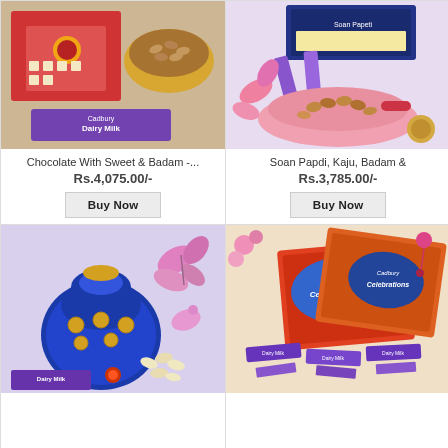[Figure (photo): Product image: red box with sweets, bowl of almonds, and Cadbury Dairy Milk chocolate bar]
Chocolate With Sweet & Badam -...
Rs.4,075.00/-
Buy Now
[Figure (photo): Product image: Soan Papdi box, dry fruits in a pink flower basket, bindi and kumkum accessories]
Soan Papdi, Kaju, Badam &
Rs.3,785.00/-
Buy Now
[Figure (photo): Product image: Blue embroidered potli bag with cashews and Cadbury Dairy Milk chocolate]
[Figure (photo): Product image: Cadbury Celebrations gift boxes with chocolate bars]